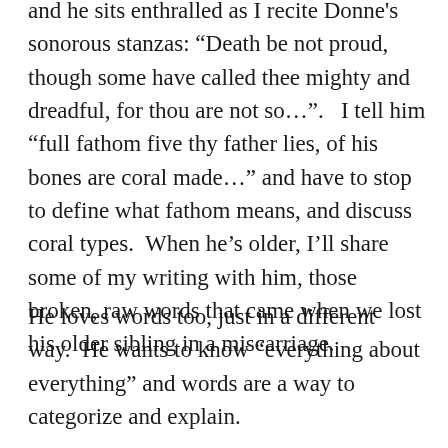and he sits enthralled as I recite Donne's sonorous stanzas: “Death be not proud, though some have called thee mighty and dreadful, for thou are not so…”.   I tell him “full fathom five thy father lies, of his bones are coral made…” and have to stop to define what fathom means, and discuss coral types.  When he’s older, I’ll share some of my writing with him, those broken, raw words that came when we lost his older sibling in a miscarriage.
He loves words too, just in a different way.  He wants to know “everything about everything” and words are a way to categorize and explain.